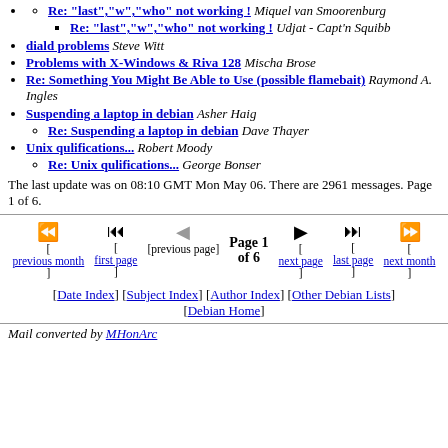Re: "last","w","who" not working ! Miquel van Smoorenburg
Re: "last","w","who" not working ! Udjat - Capt'n Squibb
diald problems Steve Witt
Problems with X-Windows & Riva 128 Mischa Brose
Re: Something You Might Be Able to Use (possible flamebait) Raymond A. Ingles
Suspending a laptop in debian Asher Haig
Re: Suspending a laptop in debian Dave Thayer
Unix qulifications... Robert Moody
Re: Unix qulifications... George Bonser
The last update was on 08:10 GMT Mon May 06. There are 2961 messages. Page 1 of 6.
[Figure (other): Navigation bar with previous month, first page, previous page, Page 1 of 6, next page, last page, next month controls]
[Date Index] [Subject Index] [Author Index] [Other Debian Lists] [Debian Home]
Mail converted by MHonArc